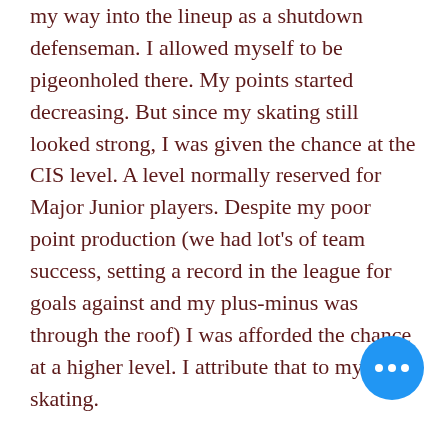my way into the lineup as a shutdown defenseman. I allowed myself to be pigeonholed there. My points started decreasing. But since my skating still looked strong, I was given the chance at the CIS level. A level normally reserved for Major Junior players. Despite my poor point production (we had lot's of team success, setting a record in the league for goals against and my plus-minus was through the roof) I was afforded the chance at a higher level. I attribute that to my skating.
But then the points ran dry because I repeated the same pattern. I allowed myself to be pigeonholed in a role that I was comfortable with. Again, highest plus-minus on the team, but not enough